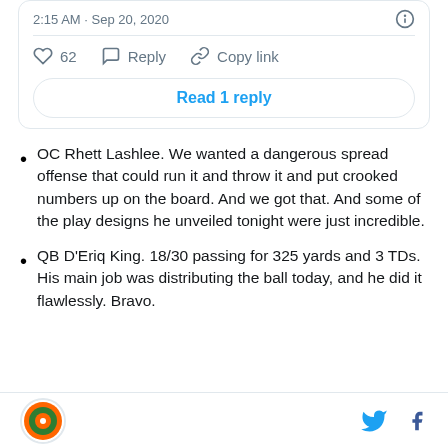2:15 AM · Sep 20, 2020
62  Reply  Copy link
Read 1 reply
OC Rhett Lashlee. We wanted a dangerous spread offense that could run it and throw it and put crooked numbers up on the board. And we got that. And some of the play designs he unveiled tonight were just incredible.
QB D'Eriq King. 18/30 passing for 325 yards and 3 TDs. His main job was distributing the ball today, and he did it flawlessly. Bravo.
SB Nation logo, Twitter icon, Facebook icon